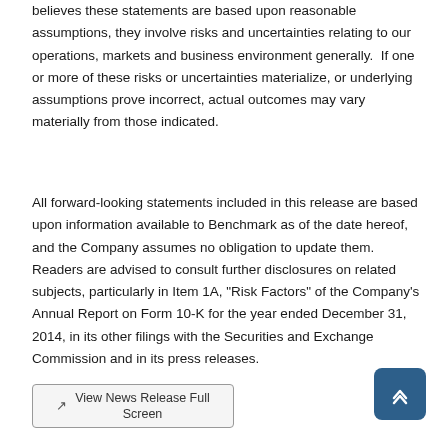believes these statements are based upon reasonable assumptions, they involve risks and uncertainties relating to our operations, markets and business environment generally.  If one or more of these risks or uncertainties materialize, or underlying assumptions prove incorrect, actual outcomes may vary materially from those indicated.
All forward-looking statements included in this release are based upon information available to Benchmark as of the date hereof, and the Company assumes no obligation to update them.  Readers are advised to consult further disclosures on related subjects, particularly in Item 1A, "Risk Factors" of the Company's Annual Report on Form 10-K for the year ended December 31, 2014, in its other filings with the Securities and Exchange Commission and in its press releases.